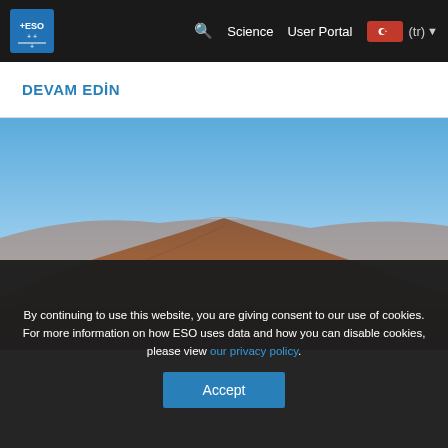ESO — Science | User Portal | (tr)
DEVAM EDİN
[Figure (photo): Aerial view of an arid reddish-brown mountain ridge under a clear blue sky, likely the Atacama Desert in Chile near an ESO observatory site.]
By continuing to use this website, you are giving consent to our use of cookies.
For more information on how ESO uses data and how you can disable cookies, please view our privacy policy.